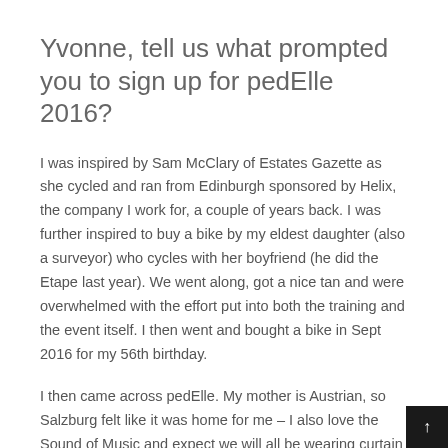Yvonne, tell us what prompted you to sign up for pedElle 2016?
I was inspired by Sam McClary of Estates Gazette as she cycled and ran from Edinburgh sponsored by Helix, the company I work for, a couple of years back. I was further inspired to buy a bike by my eldest daughter (also a surveyor) who cycles with her boyfriend (he did the Etape last year). We went along, got a nice tan and were overwhelmed with the effort put into both the training and the event itself. I then went and bought a bike in Sept 2016 for my 56th birthday.
I then came across pedElle. My mother is Austrian, so Salzburg felt like it was home for me – I also love the Sound of Music and expect we will all be wearing curtains made of Lycra and singing in unison as we weave in and